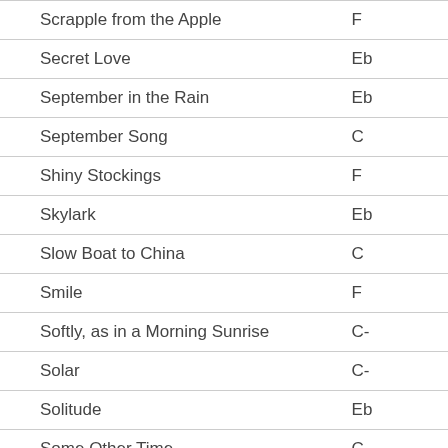| Song | Key |
| --- | --- |
| Scrapple from the Apple | F |
| Secret Love | Eb |
| September in the Rain | Eb |
| September Song | C |
| Shiny Stockings | F |
| Skylark | Eb |
| Slow Boat to China | C |
| Smile | F |
| Softly, as in a Morning Sunrise | C- |
| Solar | C- |
| Solitude | Eb |
| Some Other Time | C |
| Somebody Loves Me | F |
| Someday My Prince Will Come | Bb |